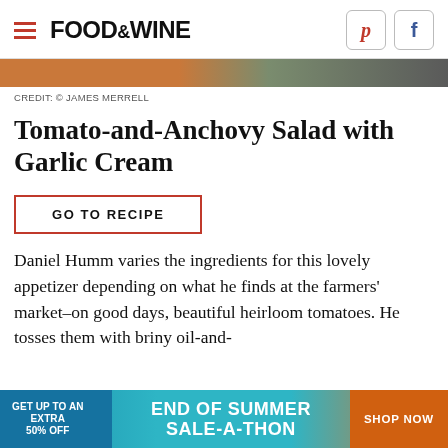FOOD & WINE
CREDIT: © JAMES MERRELL
Tomato-and-Anchovy Salad with Garlic Cream
GO TO RECIPE
Daniel Humm varies the ingredients for this lovely appetizer depending on what he finds at the farmers' market–on good days, beautiful heirloom tomatoes. He tosses them with briny oil-and-vinegar...